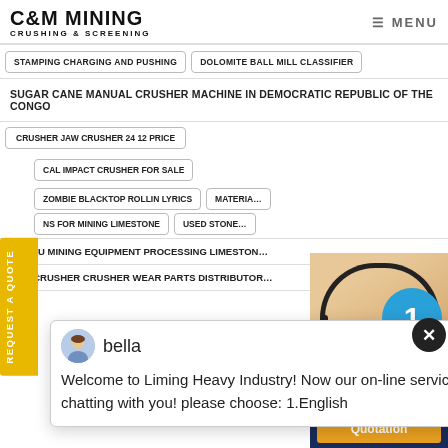C&M MINING CRUSHING & SCREENING | MENU
STAMPING CHARGING AND PUSHING
DOLOMITE BALL MILL CLASSIFIER
SUGAR CANE MANUAL CRUSHER MACHINE IN DEMOCRATIC REPUBLIC OF THE CONGO
CRUSHER JAW CRUSHER 24 12 PRICE
[Figure (screenshot): Chat popup from bella: Welcome to Liming Heavy Industry! Now our on-line service is chatting with you! please choose: 1.English]
CAL IMPACT CRUSHER FOR SALE
ZOMBIE BLACKTOP ROLLIN LYRICS
MATERIAL...
NS FOR MINING LIMESTONE
USED STONE...
JAMMU MINING EQUIPMENT PROCESSING LIMESTONE...
JAW CRUSHER CRUSHER WEAR PARTS DISTRIBUTOR...
[Figure (photo): Customer service agent with headset, smiling. Blue circle badge with number 1. Dark blue panel: Have any requests, click here. Orange Quotation button.]